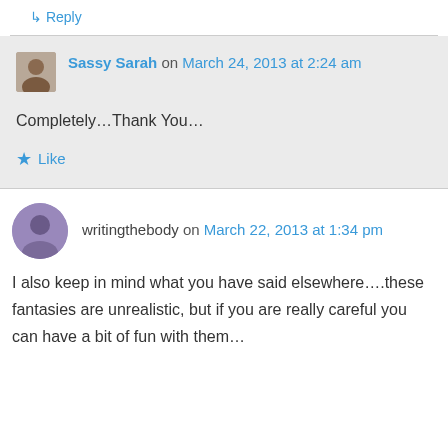↳ Reply
Sassy Sarah on March 24, 2013 at 2:24 am
Completely...Thank You...
★ Like
writingthebody on March 22, 2013 at 1:34 pm
I also keep in mind what you have said elsewhere....these fantasies are unrealistic, but if you are really careful you can have a bit of fun with them...